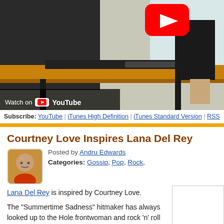[Figure (screenshot): YouTube video thumbnail showing a desk/office scene with a YouTube play button overlay and 'Watch on YouTube' text at the bottom left]
Subscribe: YouTube | iTunes High Definition | iTunes Standard Version | RSS
Courtney Love Inspires Lana Del Rey
Posted by Andru Edwards
Categories: Gossip, Pop, Rock,
Lana Del Rey is inspired by Courtney Love.
The "Summertime Sadness" hitmaker has always looked up to the Hole frontwoman and rock 'n' roll legend, so feels proud to count her among her friends these days:
"Courtney Love's a big inspiration. I like her. I talk to